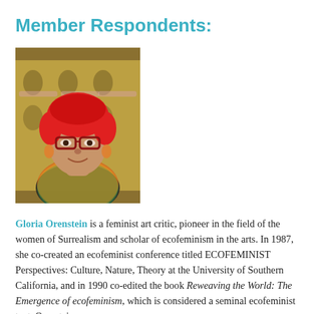Member Respondents:
[Figure (photo): Portrait photo of Gloria Orenstein, a woman with short bright red hair, red-framed glasses, colorful earrings, and a colorful patterned top, photographed against a decorative tapestry background.]
Gloria Orenstein is a feminist art critic, pioneer in the field of the women of Surrealism and scholar of ecofeminism in the arts. In 1987, she co-created an ecofeminist conference titled ECOFEMINIST Perspectives: Culture, Nature, Theory at the University of Southern California, and in 1990 co-edited the book Reweaving the World: The Emergence of ecofeminism, which is considered a seminal ecofeminist text. Orenstein